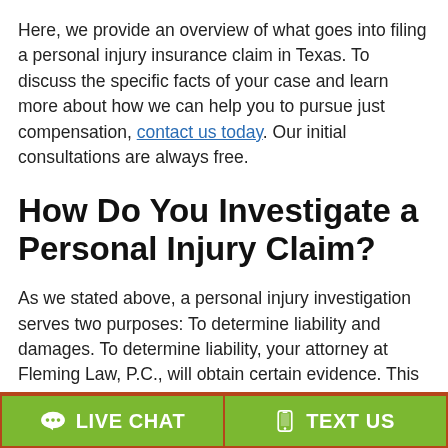Here, we provide an overview of what goes into filing a personal injury insurance claim in Texas. To discuss the specific facts of your case and learn more about how we can help you to pursue just compensation, contact us today. Our initial consultations are always free.
How Do You Investigate a Personal Injury Claim?
As we stated above, a personal injury investigation serves two purposes: To determine liability and damages. To determine liability, your attorney at Fleming Law, P.C., will obtain certain evidence. This evidence will depend on the
LIVE CHAT
TEXT US